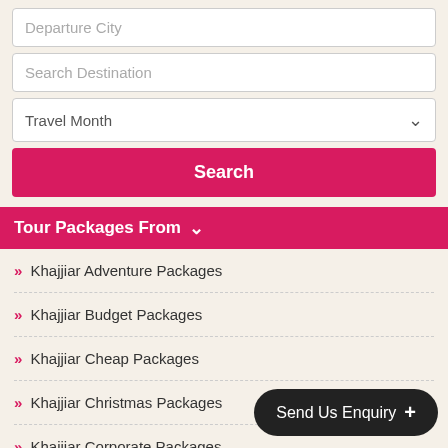Departure City
Search Destination
Travel Month
Search
Tour Packages From
» Khajjiar Adventure Packages
» Khajjiar Budget Packages
» Khajjiar Cheap Packages
» Khajjiar Christmas Packages
» Khajjiar Corporate Packages
» Khajjiar Couple Packages
» Khajjiar Diwali Packages
» Khajjiar Durga Puja Pa…
Send Us Enquiry +